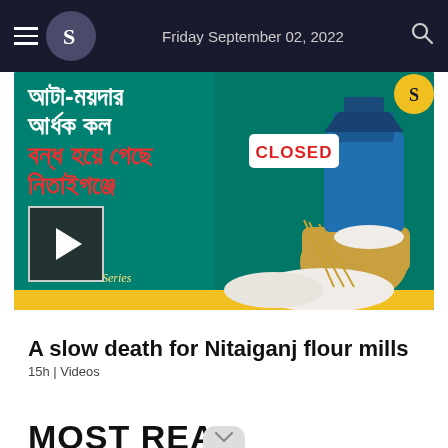Friday September 02, 2022
[Figure (screenshot): Video thumbnail showing Bengali text about flour mills being closed in Nitaiganj, with a CLOSED sign, flour mill machinery, wheat, and flour sacks on a teal background. A play button is visible at the bottom-left.]
A slow death for Nitaiganj flour mills
15h | Videos
MOST READ